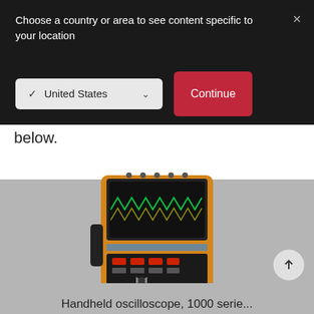Choose a country or area to see content specific to your location
✔ United States
Continue
below.
[Figure (photo): Keysight handheld oscilloscope with orange casing, black keypad, and green waveform display screen]
Handheld oscilloscope, 1000 serie...